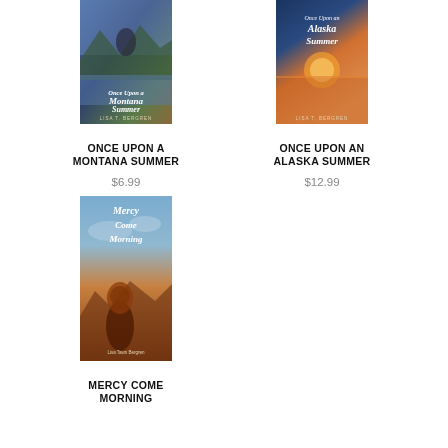[Figure (photo): Book cover for 'Once Upon a Montana Summer' by Lisa T. Bergren — couple embracing on cover with mountain lake backdrop]
ONCE UPON A MONTANA SUMMER
$6.99
[Figure (photo): Book cover for 'Once Upon an Alaska Summer' by Lisa T. Bergren — sunset over water with orange/blue tones]
ONCE UPON AN ALASKA SUMMER
$12.99
[Figure (photo): Book cover for 'Mercy Come Morning' by Lisa Tawn Bergren — woman with auburn hair viewed from behind against sky and cliffs]
MERCY COME MORNING